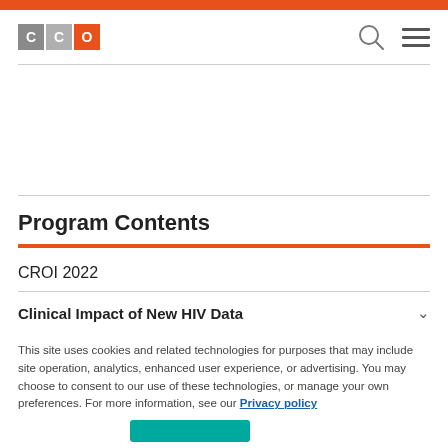CCO logo with search and menu icons
Program Contents
CROI 2022
Clinical Impact of New HIV Data
This site uses cookies and related technologies for purposes that may include site operation, analytics, enhanced user experience, or advertising. You may choose to consent to our use of these technologies, or manage your own preferences. For more information, see our Privacy policy